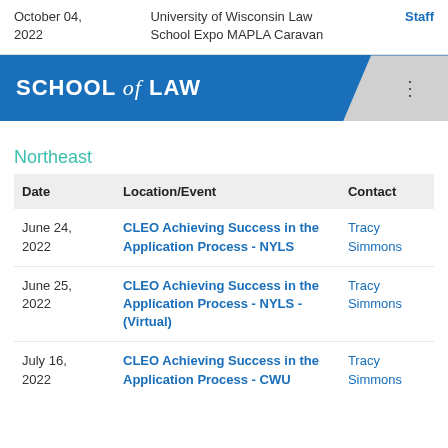| Date | Location/Event | Contact |
| --- | --- | --- |
| October 04, 2022 | University of Wisconsin Law School Expo MAPLA Caravan | Staff |
[Figure (logo): School of Law banner logo in blue with menu icon]
Northeast
| Date | Location/Event | Contact |
| --- | --- | --- |
| June 24, 2022 | CLEO Achieving Success in the Application Process - NYLS | Tracy Simmons |
| June 25, 2022 | CLEO Achieving Success in the Application Process - NYLS - (Virtual) | Tracy Simmons |
| July 16, 2022 | CLEO Achieving Success in the Application Process - CWU | Tracy Simmons |